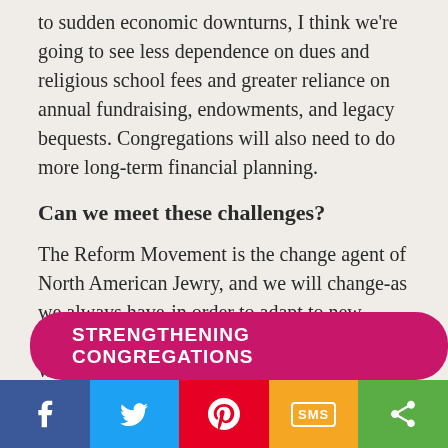to sudden economic downturns, I think we're going to see less dependence on dues and religious school fees and greater reliance on annual fundraising, endowments, and legacy bequests. Congregations will also need to do more long-term financial planning.
Can we meet these challenges?
The Reform Movement is the change agent of North American Jewry, and we will change-as we always have-in order to adapt to new realities. I'm confident that the Union, along with our partners, the College and the CCAR, will be able to morph into the Movement that will best meet the needs of Jews in the next decade and beyond.
STRENGTHENING CONGREGATIONS
[Figure (infographic): Social media share bar with Facebook, Twitter, Pinterest, SMS, and share buttons]